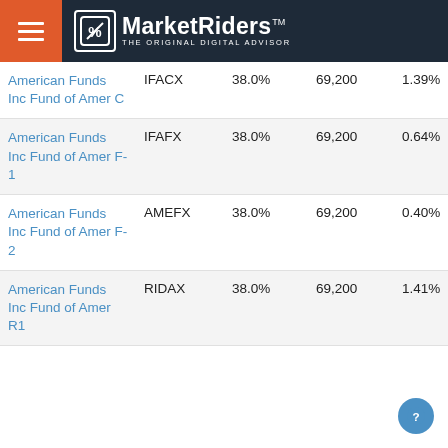MarketRiders - THE ORIGINAL DIGITAL ADVISOR
| Fund Name | Ticker | Allocation | Amount | Expense |
| --- | --- | --- | --- | --- |
| American Funds Inc Fund of Amer C | IFACX | 38.0% | 69,200 | 1.39% |
| American Funds Inc Fund of Amer F-1 | IFAFX | 38.0% | 69,200 | 0.64% |
| American Funds Inc Fund of Amer F-2 | AMEFX | 38.0% | 69,200 | 0.40% |
| American Funds Inc Fund of Amer R1 | RIDAX | 38.0% | 69,200 | 1.41% |